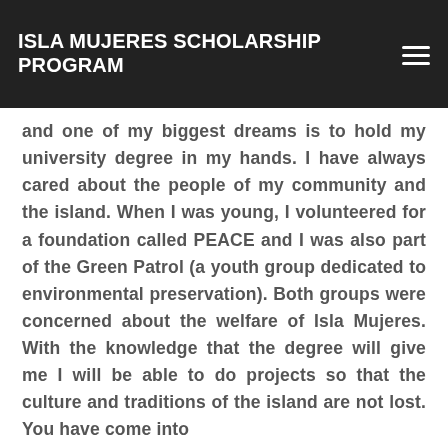ISLA MUJERES SCHOLARSHIP PROGRAM
and one of my biggest dreams is to hold my university degree in my hands. I have always cared about the people of my community and the island. When I was young, I volunteered for a foundation called PEACE and I was also part of the Green Patrol (a youth group dedicated to environmental preservation). Both groups were concerned about the welfare of Isla Mujeres. With the knowledge that the degree will give me I will be able to do projects so that the culture and traditions of the island are not lost. You have come into